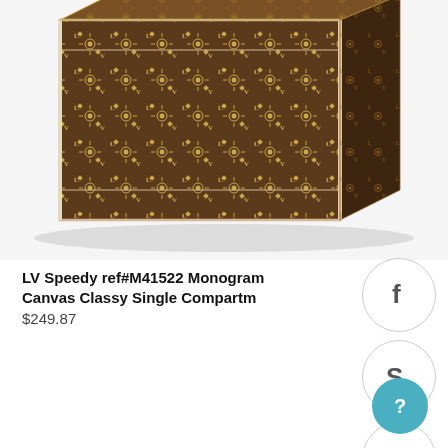[Figure (photo): Louis Vuitton Speedy bag with monogram canvas pattern, brown with LV logos, photographed from above on white background]
LV Speedy ref#M41522 Monogram Canvas Classy Single Compartm
$249.87